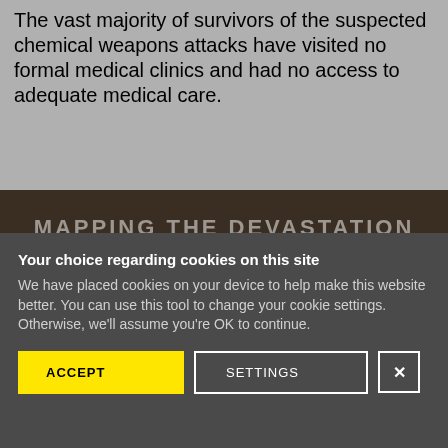The vast majority of survivors of the suspected chemical weapons attacks have visited no formal medical clinics and had no access to adequate medical care.
[Figure (photo): Dark image band showing a partially visible bold heading text overlay reading 'MAPPING THE DEVASTATION' in a dark brownish scene]
Your choice regarding cookies on this site
We have placed cookies on your device to help make this website better. You can use this tool to change your cookie settings. Otherwise, we'll assume you're OK to continue.